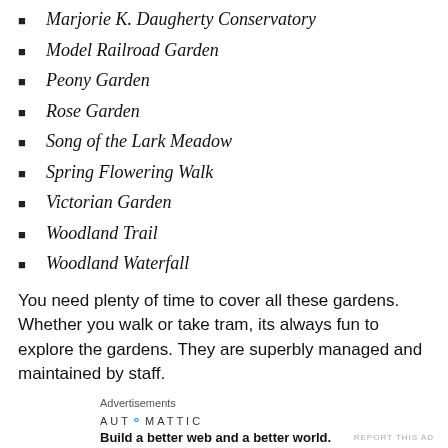Marjorie K. Daugherty Conservatory
Model Railroad Garden
Peony Garden
Rose Garden
Song of the Lark Meadow
Spring Flowering Walk
Victorian Garden
Woodland Trail
Woodland Waterfall
You need plenty of time to cover all these gardens. Whether you walk or take tram, its always fun to explore the gardens. They are superbly managed and maintained by staff.
Advertisements
AUTOMATTIC
Build a better web and a better world.